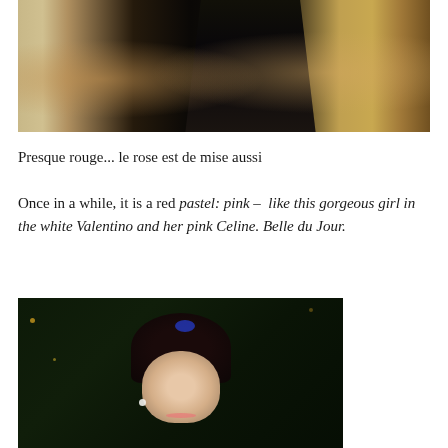[Figure (photo): Partial view of a person in a long black dress or outfit, standing in front of stone steps or pavement, cropped at torso/arm level]
Presque rouge... le rose est de mise aussi
Once in a while, it is a red pastel: pink –  like this gorgeous girl in the white Valentino and her pink Celine. Belle du Jour.
[Figure (photo): Young Asian woman smiling, wearing a blue hair accessory, pearl earring, and white/light colored top, photographed at a dark event venue]